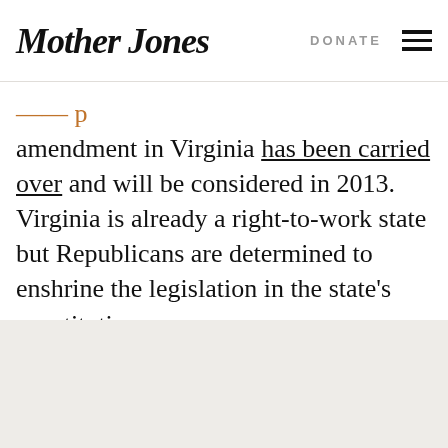Mother Jones | DONATE
amendment in Virginia has been carried over and will be considered in 2013. Virginia is already a right-to-work state but Republicans are determined to enshrine the legislation in the state's constitution.